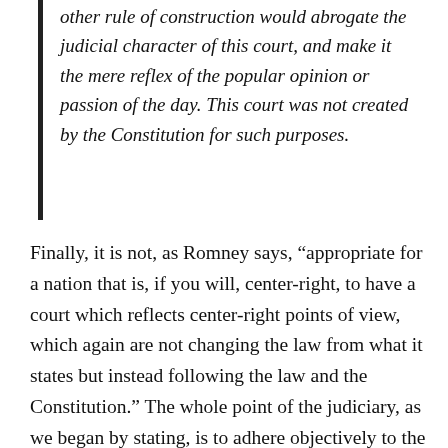other rule of construction would abrogate the judicial character of this court, and make it the mere reflex of the popular opinion or passion of the day. This court was not created by the Constitution for such purposes.
Finally, it is not, as Romney says, “appropriate for a nation that is, if you will, center-right, to have a court which reflects center-right points of view, which again are not changing the law from what it states but instead following the law and the Constitution.” The whole point of the judiciary, as we began by stating, is to adhere objectively to the principles in our Constitution–and its amendments--to ensure liberty and justice for all, and not to follow the will of the majority, support one